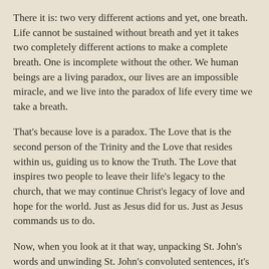There it is: two very different actions and yet, one breath. Life cannot be sustained without breath and yet it takes two completely different actions to make a complete breath. One is incomplete without the other. We human beings are a living paradox, our lives are an impossible miracle, and we live into the paradox of life every time we take a breath.
That's because love is a paradox. The Love that is the second person of the Trinity and the Love that resides within us, guiding us to know the Truth. The Love that inspires two people to leave their life's legacy to the church, that we may continue Christ's legacy of love and hope for the world. Just as Jesus did for us. Just as Jesus commands us to do.
Now, when you look at it that way, unpacking St. John's words and unwinding St. John's convoluted sentences, it's really pretty simple, right? As simple as the sun knowing when to rise and set each day. As simple as the mysterious beauty of a flower in the Arnot-Pring Garden. As simple as the force that keeps the world revolving slowly on its axis.